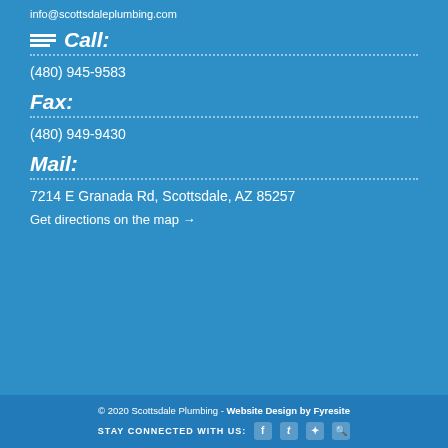info@scottsdaleplumbing.com
Call:
(480) 945-9583
Fax:
(480) 949-9430
Mail:
7214 E Granada Rd, Scottsdale, AZ 85257
Get directions on the map →
© 2020 Scottsdale Plumbing - Website Design by Fyresite
STAY CONNECTED WITH US: